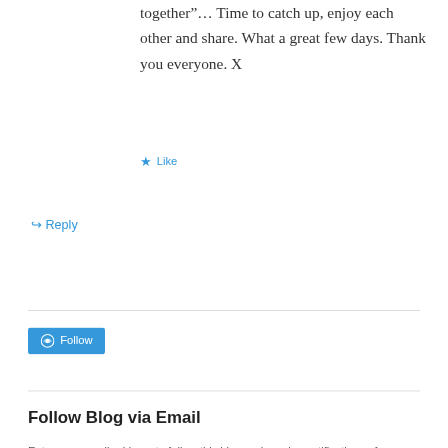together”… Time to catch up, enjoy each other and share. What a great few days. Thank you everyone. X
★ Like
↪ Reply
[Figure (other): WordPress Follow button (blue rounded button with WordPress logo and 'Follow' text)]
Follow Blog via Email
Enter your email address to follow this blog and receive notifications of new posts by email.
Enter your email address